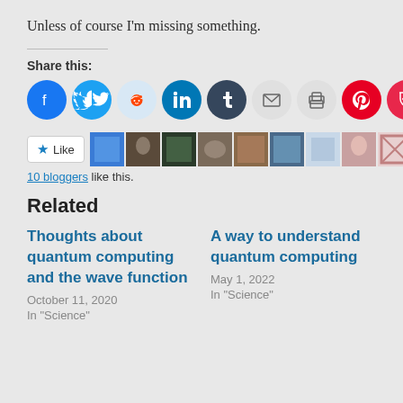Unless of course I'm missing something.
Share this:
[Figure (infographic): Share icons row: Facebook, Twitter, Reddit, LinkedIn, Tumblr, Email, Print, Pinterest, Pocket]
[Figure (infographic): Like button and 10 blogger avatar thumbnails]
10 bloggers like this.
Related
Thoughts about quantum computing and the wave function
October 11, 2020
In "Science"
A way to understand quantum computing
May 1, 2022
In "Science"